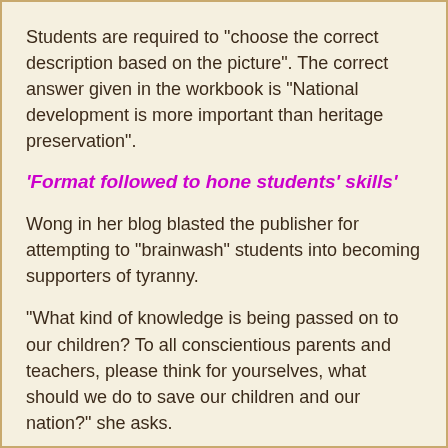Students are required to "choose the correct description based on the picture". The correct answer given in the workbook is "National development is more important than heritage preservation".
'Format followed to hone students' skills'
Wong in her blog blasted the publisher for attempting to "brainwash" students into becoming supporters of tyranny.
"What kind of knowledge is being passed on to our children? To all conscientious parents and teachers, please think for yourselves, what should we do to save our children and our nation?" she asks.
Contacted by Malaysiakini, a Cemerlang Publication staff in charge of editorial content said that the question merely followed the PMR examination format to hone the students' analytical skills.
The staff member, who only wanted to be identified as Ho,